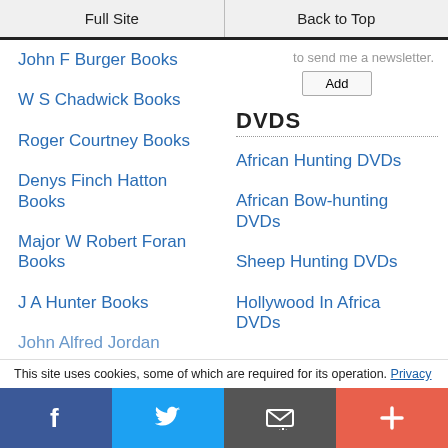Full Site | Back to Top
to send me a newsletter.
Add
DVDS
John F Burger Books
W S Chadwick Books
Roger Courtney Books
Denys Finch Hatton Books
Major W Robert Foran Books
J A Hunter Books
John Alfred Jordan
African Hunting DVDs
African Bow-hunting DVDs
Sheep Hunting DVDs
Hollywood In Africa DVDs
This site uses cookies, some of which are required for its operation. Privacy
f | Twitter | Email | +